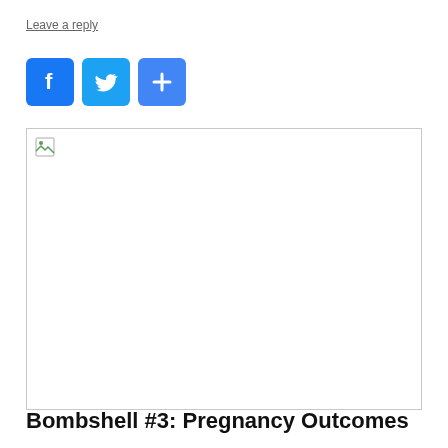Leave a reply
[Figure (other): Social media share buttons: Facebook (blue F icon), Twitter (blue bird icon), and a blue plus/share button]
[Figure (other): Broken image placeholder with a small broken image icon in the top-left corner, white background with light gray border]
Bombshell #3: Pregnancy Outcomes